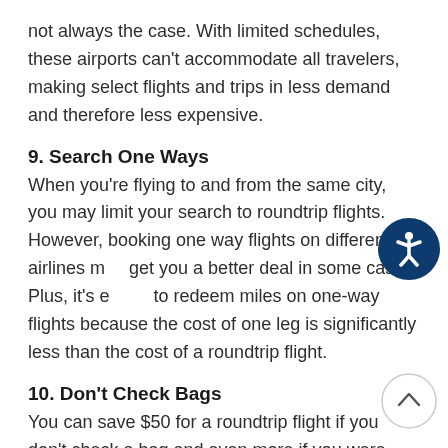not always the case. With limited schedules, these airports can't accommodate all travelers, making select flights and trips in less demand and therefore less expensive.
9. Search One Ways
When you're flying to and from the same city, you may limit your search to roundtrip flights. However, booking one way flights on different airlines may get you a better deal in some cases. Plus, it's easier to redeem miles on one-way flights because the cost of one leg is significantly less than the cost of a roundtrip flight.
10. Don't Check Bags
You can save $50 for a roundtrip flight if you don't check a bag and even more if you were planning to check multiple bags. Pack light with a carry on